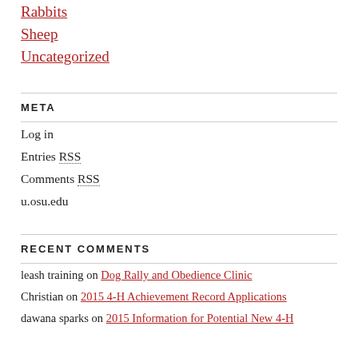Rabbits
Sheep
Uncategorized
META
Log in
Entries RSS
Comments RSS
u.osu.edu
RECENT COMMENTS
leash training on Dog Rally and Obedience Clinic
Christian on 2015 4-H Achievement Record Applications
dawana sparks on 2015 Information for Potential New 4-H